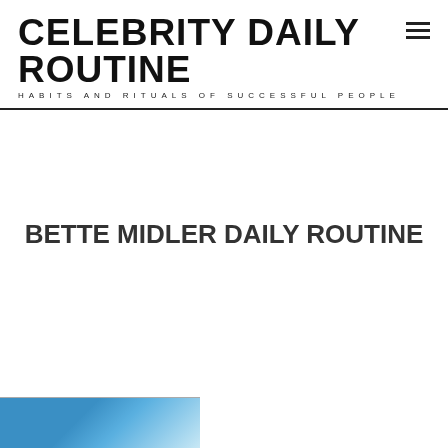CELEBRITY DAILY ROUTINE
HABITS AND RITUALS OF SUCCESSFUL PEOPLE
BETTE MIDLER DAILY ROUTINE
[Figure (photo): Partial view of a photo at the bottom-left corner of the page, appears to show a person with blue tones visible]